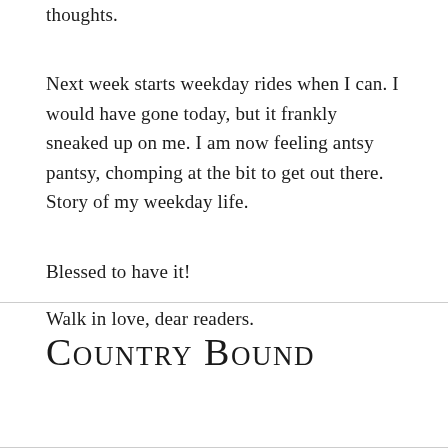thoughts.
Next week starts weekday rides when I can. I would have gone today, but it frankly sneaked up on me. I am now feeling antsy pantsy, chomping at the bit to get out there. Story of my weekday life.
Blessed to have it!
Walk in love, dear readers.
Country Bound